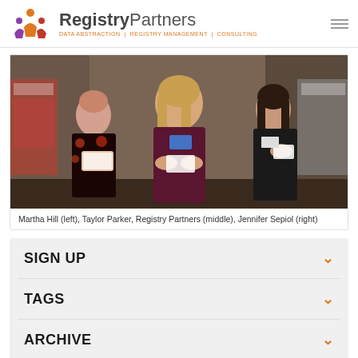[Figure (logo): Registry Partners logo with colorful people icon and text 'RegistryPartners' with tagline 'DATA ABSTRACTION | REGISTRY MANAGEMENT | CONSULTING']
[Figure (photo): Three women standing together holding cards/papers at what appears to be a conference or trade show booth]
Martha Hill (left), Taylor Parker, Registry Partners (middle), Jennifer Sepiol (right)
SIGN UP
TAGS
ARCHIVE